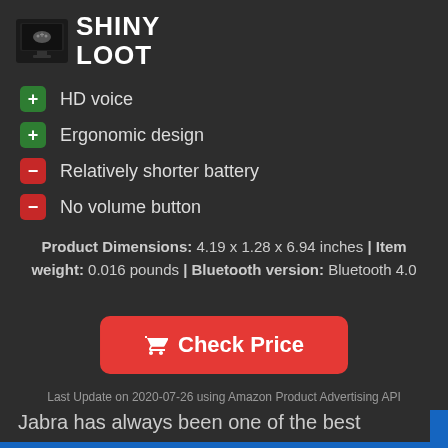[Figure (logo): Shiny Loot logo with game controller on monitor icon and text SHINY LOOT]
HD voice
Ergonomic design
Relatively shorter battery
No volume button
Product Dimensions: 4.19 x 1.28 x 6.94 inches | Item weight: 0.016 pounds | Bluetooth version: Bluetooth 4.0
Check Price
Last Update on 2020-07-26 using Amazon Product Advertising API
Jabra has always been one of the best companies when it comes to headsets. Their Talk line is evidence of sheer determination and unwavering commitment to providing